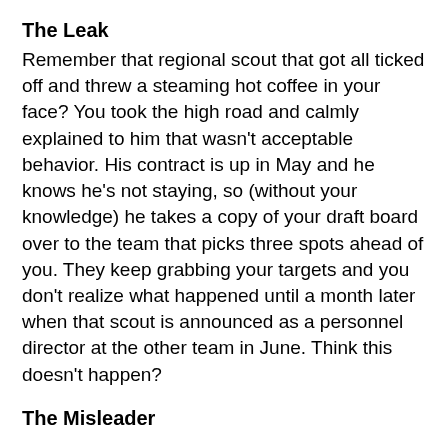The Leak
Remember that regional scout that got all ticked off and threw a steaming hot coffee in your face? You took the high road and calmly explained to him that wasn't acceptable behavior. His contract is up in May and he knows he's not staying, so (without your knowledge) he takes a copy of your draft board over to the team that picks three spots ahead of you. They keep grabbing your targets and you don't realize what happened until a month later when that scout is announced as a personnel director at the other team in June. Think this doesn't happen?
The Misleader